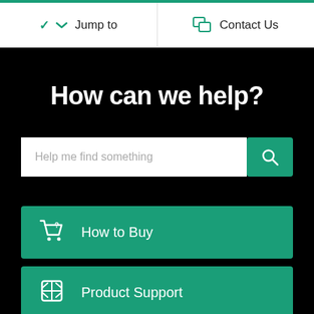Jump to | Contact Us
How can we help?
Help me find something
How to Buy
Product Support